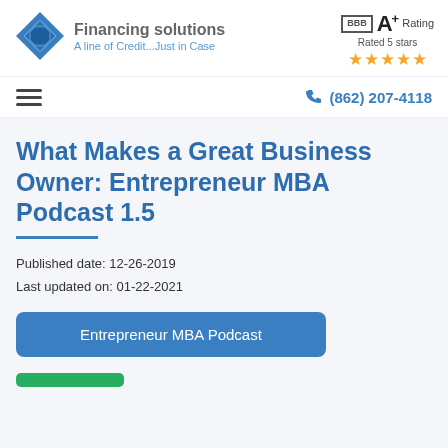Financing solutions - A line of Credit...Just in Case | BBB A+ Rating | Rated 5 stars
(862) 207-4118
What Makes a Great Business Owner: Entrepreneur MBA Podcast 1.5
Published date: 12-26-2019
Last updated on: 01-22-2021
Entrepreneur MBA Podcast